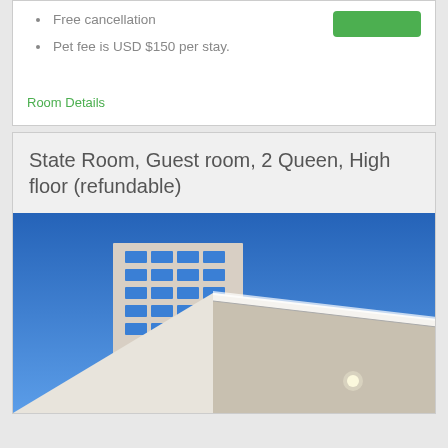Free cancellation
Pet fee is USD $150 per stay.
Room Details
State Room, Guest room, 2 Queen, High floor (refundable)
[Figure (photo): Hotel building exterior shot from low angle against bright blue sky, showing modern multi-story building with large windows and a prominent white canopy/roof structure in the foreground]